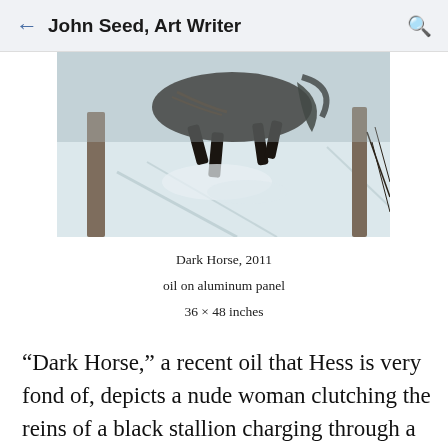John Seed, Art Writer
[Figure (photo): Partial view of a painting showing a snowy scene with birch trees and what appears to be a dark horse, viewed from above. The painting shows a winter forest scene with snow-covered ground.]
Dark Horse, 2011

oil on aluminum panel

36 × 48 inches
“Dark Horse,” a recent oil that Hess is very fond of, depicts a nude woman clutching the reins of a black stallion charging through a snow covered birch forest. Yes, it has a connection to the tale of